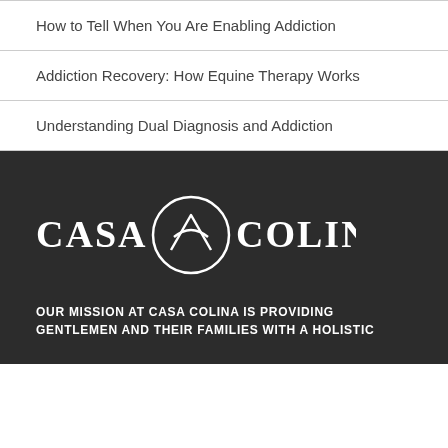How to Tell When You Are Enabling Addiction
Addiction Recovery: How Equine Therapy Works
Understanding Dual Diagnosis and Addiction
[Figure (logo): Casa Colina logo — white text with mountain/arch emblem on dark background]
OUR MISSION AT CASA COLINA IS PROVIDING GENTLEMEN AND THEIR FAMILIES WITH A HOLISTIC